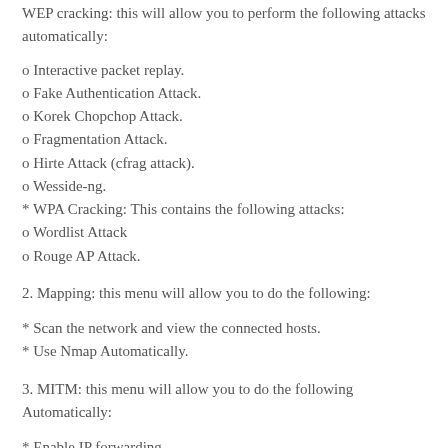WEP cracking: this will allow you to perform the following attacks automatically:
o Interactive packet replay.
o Fake Authentication Attack.
o Korek Chopchop Attack.
o Fragmentation Attack.
o Hirte Attack (cfrag attack).
o Wesside-ng.
* WPA Cracking: This contains the following attacks:
o Wordlist Attack
o Rouge AP Attack.
2. Mapping: this menu will allow you to do the following:
* Scan the network and view the connected hosts.
* Use Nmap Automatically.
3. MITM: this menu will allow you to do the following Automatically:
* Enable IP forwarding.
* ARP Spoofing...